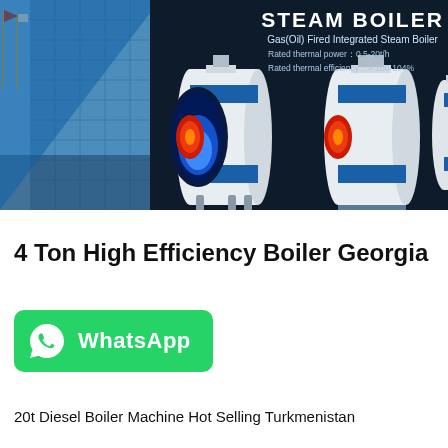[Figure (photo): Steam boiler product banner. Dark navy background with a glass building and flag poles on the left, three white cylindrical steam boilers with blue rings in the center/right. Text overlay: STEAM BOILER, Gas(Oil) Fired Integrated Steam Boiler, Rated thermal power: 0.5-20t/h, Rated thermal efficiency: > 100-104%.]
4 Ton High Efficiency Boiler Georgia
[Figure (logo): WhatsApp button: green rounded rectangle with WhatsApp phone icon on the left and 'WhatsApp' text in white bold.]
20t Diesel Boiler Machine Hot Selling Turkmenistan